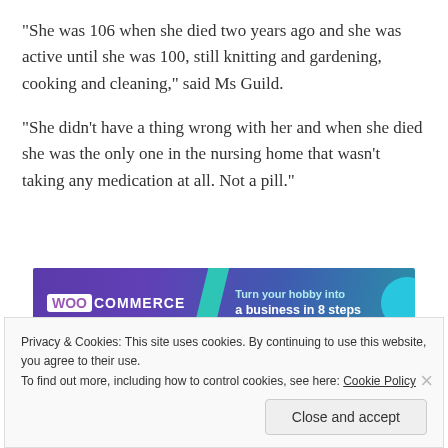“She was 106 when she died two years ago and she was active until she was 100, still knitting and gardening, cooking and cleaning,” said Ms Guild.
“She didn’t have a thing wrong with her and when she died she was the only one in the nursing home that wasn’t taking any medication at all. Not a pill.”
[Figure (other): WooCommerce advertisement banner: purple/navy gradient background with teal geometric shape and blue circle. Text reads 'WOO COMMERCE' logo on left and 'Turn your hobby into a business in 8 steps' on right.]
Privacy & Cookies: This site uses cookies. By continuing to use this website, you agree to their use.
To find out more, including how to control cookies, see here: Cookie Policy